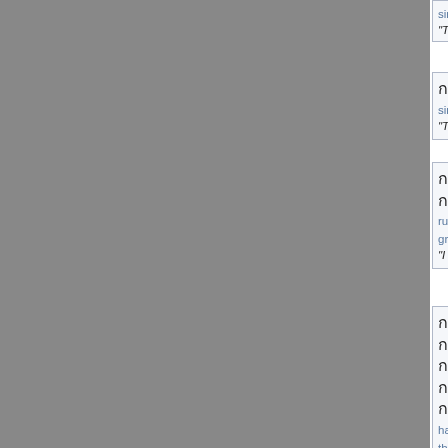[Figure (other): Gray vertical bar on the left side of the page, approximately 430px wide, serving as a column separator or navigation panel.]
singL theeF dtawngF phuutF haiF maa... "That which we should say mo...
singL theeF dtawngF thamM haiF maa... "That which we must do more...
ruuH seukL dtuaaM aehngM reermF se... groongM thaehpF maakF kheunF thoo... "I feel that I am increasingly be...
haehtL theeF dtawngF yohkH wenH ga... thangH thangH theeF khraiM gaawF ya... phrawH saL phaapF aaM gaatL chiian... yohnM nanH maiF phiianM khaae... "Because..."